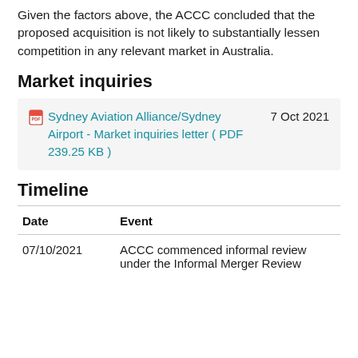Given the factors above, the ACCC concluded that the proposed acquisition is not likely to substantially lessen competition in any relevant market in Australia.
Market inquiries
Sydney Aviation Alliance/Sydney Airport - Market inquiries letter ( PDF 239.25 KB )  7 Oct 2021
Timeline
| Date | Event |
| --- | --- |
| 07/10/2021 | ACCC commenced informal review under the Informal Merger Review |